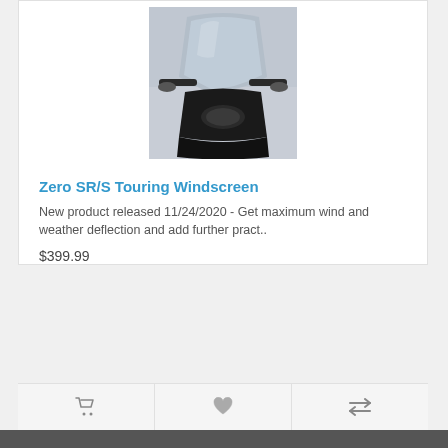[Figure (photo): Photo of a motorcycle windscreen (Zero SR/S Touring Windscreen) showing the front fairing and windshield of a dark-colored electric motorcycle]
Zero SR/S Touring Windscreen
New product released 11/24/2020 - Get maximum wind and weather deflection and add further pract..
$399.99
[Figure (infographic): Three action buttons at the bottom of the product card: shopping cart icon, heart/wishlist icon, and compare arrows icon]